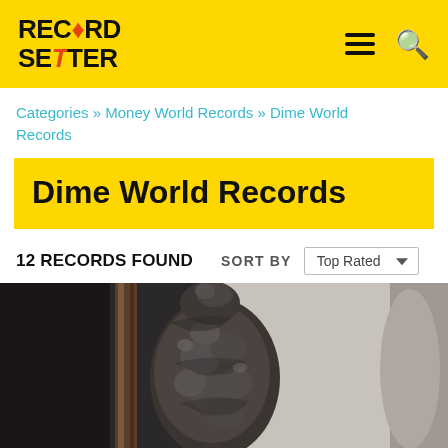RECORD SETTER
Categories » Money World Records » Dime World Records
Dime World Records
12 RECORDS FOUND   SORT BY   Top Rated
[Figure (photo): Black and white photograph showing a large cluster of dimes stacked/wrapped on what appears to be a wooden post or candle holder, with a partial figure on the right side]